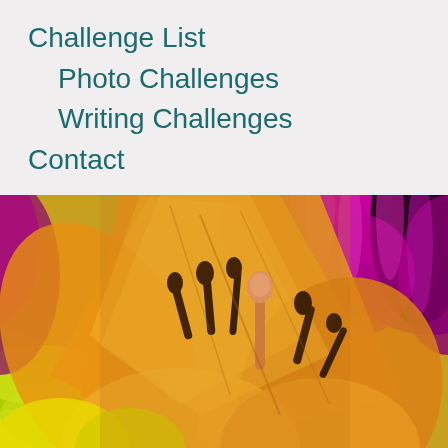Challenge List
Photo Challenges
Writing Challenges
Contact
[Figure (photo): Close-up macro photograph of colorful flowers: a yellow/orange lily with dark stamens in the center foreground, bright yellow chrysanthemums on the left, and vivid magenta/purple chrysanthemums in the upper right background.]